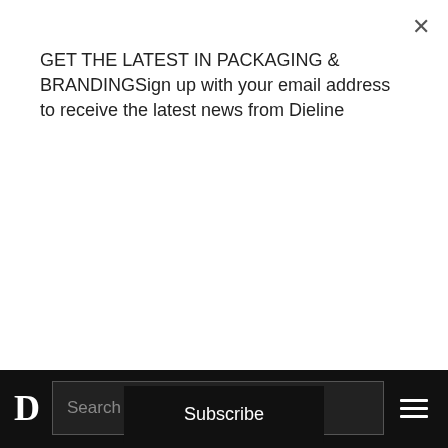GET THE LATEST IN PACKAGING & BRANDINGSign up with your email address to receive the latest news from Dieline
Subscribe
[Figure (photo): Three Biologische soup packages: Tomaten Soep (red), Broccoli Soep (green), and Pompoen Soep (orange/yellow), dark packaging with vegetable imagery]
Why is this work so special and what does it say about your agency? The work for Unoy
D  Search  ≡